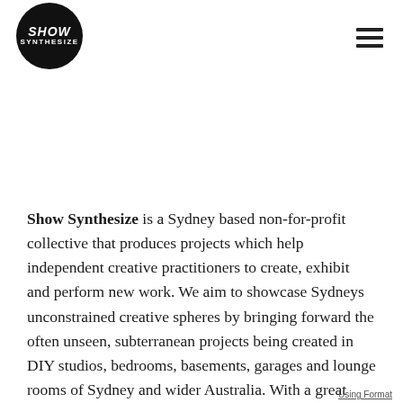[Figure (logo): Show Synthesize circular black logo with white italic text]
Show Synthesize is a Sydney based non-for-profit collective that produces projects which help independent creative practitioners to create, exhibit and perform new work. We aim to showcase Sydneys unconstrained creative spheres by bringing forward the often unseen, subterranean projects being created in DIY studios, bedrooms, basements, garages and lounge rooms of Sydney and wider Australia. With a great focus on social events and collaboration, we believe that providing a space for independent creative practitioners to converse, collaborate and experiment is mandatory for the creation of new innovative art.
Using Format